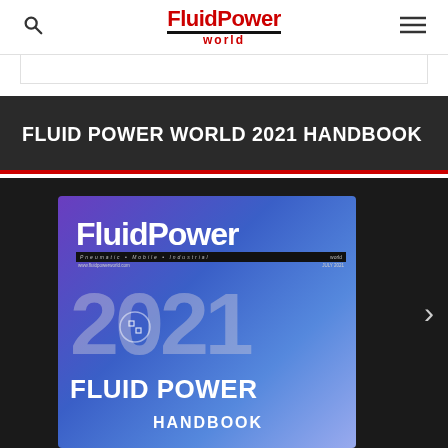FluidPower world
FLUID POWER WORLD 2021 HANDBOOK
[Figure (photo): FluidPower World 2021 Handbook magazine cover showing the Fluid Power World logo, 2021 branding, and 'FLUID POWER HANDBOOK' text on a purple/blue gradient background, displayed on a dark background with a next-arrow navigation element.]